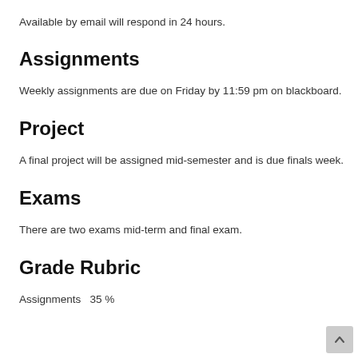Available by email will respond in 24 hours.
Assignments
Weekly assignments are due on Friday by 11:59 pm on blackboard.
Project
A final project will be assigned mid-semester and is due finals week.
Exams
There are two exams mid-term and final exam.
Grade Rubric
Assignments  35 %